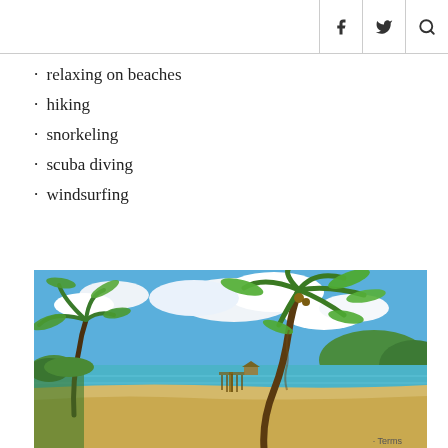Social media navigation bar with Facebook, Twitter, and Search icons
relaxing on beaches
hiking
snorkeling
scuba diving
windsurfing
[Figure (photo): Tropical beach scene with palm trees, sandy shore, a wooden pier extending into calm turquoise water, and a blue sky with white clouds.]